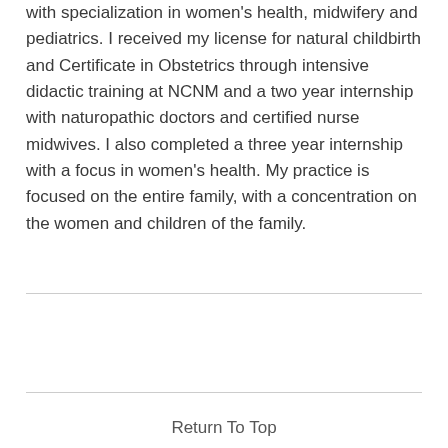with specialization in women's health, midwifery and pediatrics. I received my license for natural childbirth and Certificate in Obstetrics through intensive didactic training at NCNM and a two year internship with naturopathic doctors and certified nurse midwives. I also completed a three year internship with a focus in women's health. My practice is focused on the entire family, with a concentration on the women and children of the family.
Return To Top